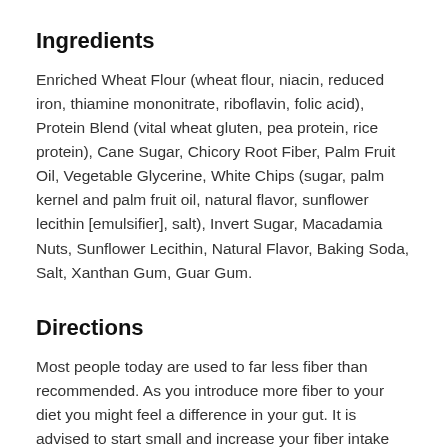Ingredients
Enriched Wheat Flour (wheat flour, niacin, reduced iron, thiamine mononitrate, riboflavin, folic acid), Protein Blend (vital wheat gluten, pea protein, rice protein), Cane Sugar, Chicory Root Fiber, Palm Fruit Oil, Vegetable Glycerine, White Chips (sugar, palm kernel and palm fruit oil, natural flavor, sunflower lecithin [emulsifier], salt), Invert Sugar, Macadamia Nuts, Sunflower Lecithin, Natural Flavor, Baking Soda, Salt, Xanthan Gum, Guar Gum.
Directions
Most people today are used to far less fiber than recommended. As you introduce more fiber to your diet you might feel a difference in your gut. It is advised to start small and increase your fiber intake step by step. Why? Your gut is going through a health revolution! Lenny &